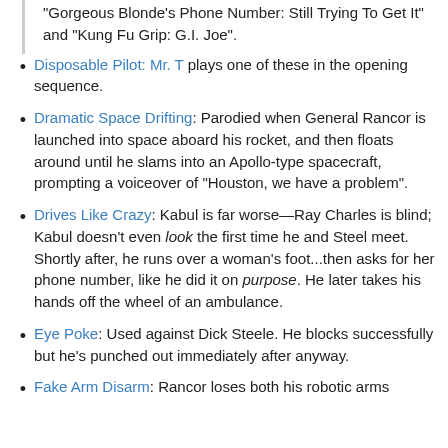"Gorgeous Blonde's Phone Number: Still Trying To Get It" and "Kung Fu Grip: G.I. Joe".
Disposable Pilot: Mr. T plays one of these in the opening sequence.
Dramatic Space Drifting: Parodied when General Rancor is launched into space aboard his rocket, and then floats around until he slams into an Apollo-type spacecraft, prompting a voiceover of "Houston, we have a problem".
Drives Like Crazy: Kabul is far worse—Ray Charles is blind; Kabul doesn't even look the first time he and Steel meet. Shortly after, he runs over a woman's foot...then asks for her phone number, like he did it on purpose. He later takes his hands off the wheel of an ambulance.
Eye Poke: Used against Dick Steele. He blocks successfully but he's punched out immediately after anyway.
Fake Arm Disarm: Rancor loses both his robotic arms